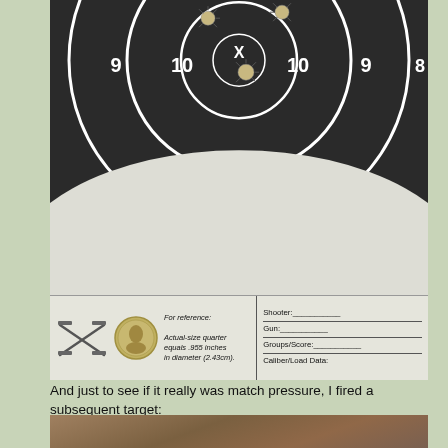[Figure (photo): Sepia-toned shooting target with black bullseye circles. Numbers 9, 10, X, 10, 9, 8 visible on rings. Four bullet holes visible in the target. Bottom portion shows a reference quarter coin, crossed rifles illustration, reference text about quarter size, and a shooter info box with fields for Shooter, Gun, Groups/Score, Caliber/Load Data.]
And just to see if it really was match pressure, I fired a subsequent target:
[Figure (photo): Bottom edge of a second shooting target on a wooden surface, partially visible.]